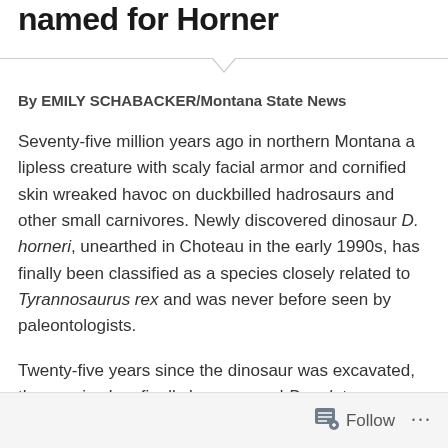named for Horner
By EMILY SCHABACKER/Montana State News
Seventy-five million years ago in northern Montana a lipless creature with scaly facial armor and cornified skin wreaked havoc on duckbilled hadrosaurs and other small carnivores. Newly discovered dinosaur D. horneri, unearthed in Choteau in the early 1990s, has finally been classified as a species closely related to Tyrannosaurus rex and was never before seen by paleontologists.
Twenty-five years since the dinosaur was excavated, the species has finally been named Daspletosaurus horneri or “Horner’s Frightful Lizard,” named after Jack Horner, the renowned former Montana State
Follow ...